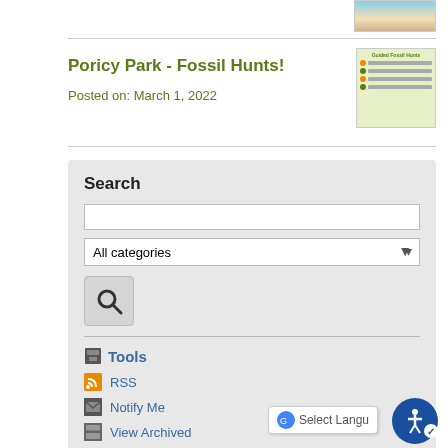[Figure (photo): Small thumbnail image of a beach/coastal scene at top right]
Poricy Park - Fossil Hunts!
Posted on: March 1, 2022
[Figure (illustration): Thumbnail image showing 'Guided Fossil Hunts' checklist with cartoon figure]
Search
All categories
[Figure (other): Search button with magnifying glass icon]
Tools
RSS
Notify Me
View Archived
Categories
All Categories